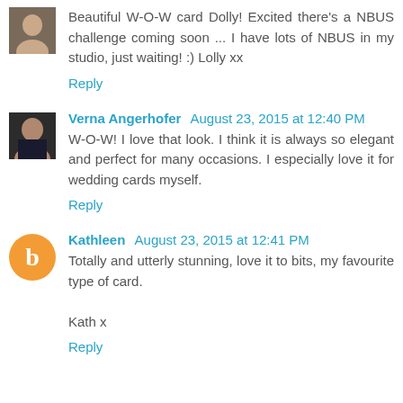Beautiful W-O-W card Dolly! Excited there's a NBUS challenge coming soon ... I have lots of NBUS in my studio, just waiting! :) Lolly xx
Reply
Verna Angerhofer August 23, 2015 at 12:40 PM
W-O-W! I love that look. I think it is always so elegant and perfect for many occasions. I especially love it for wedding cards myself.
Reply
Kathleen August 23, 2015 at 12:41 PM
Totally and utterly stunning, love it to bits, my favourite type of card.

Kath x
Reply